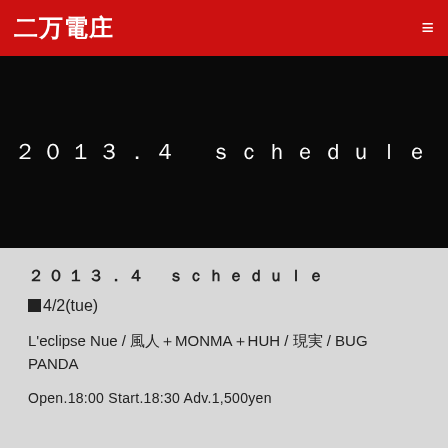二万電庄
2013.4 schedule
２０１３．４　ｓｃｈｅｄｕｌｅ
■4/2(tue)
L'eclipse Nue / 風人＋MONMA＋HUH / 現実 / BUG PANDA
Open.18:00 Start.18:30 Adv.1,500yen